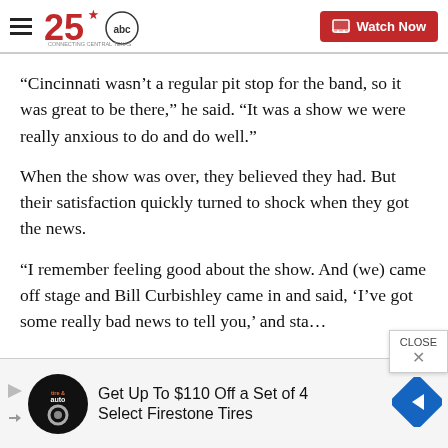KXXV 25 ABC - Connecting Central Texas | Watch Now
“Cincinnati wasn’t a regular pit stop for the band, so it was great to be there,” he said. “It was a show we were really anxious to do and do well.”
When the show was over, they believed they had. But their satisfaction quickly turned to shock when they got the news.
“I remember feeling good about the show. And (we) came off stage and Bill Curbishley came in and said, ‘I’ve got some really bad news to tell you,’ and sta…
[Figure (infographic): Advertisement banner: Get Up To $110 Off a Set of 4 Select Firestone Tires, with tire & auto logo and blue diamond directional sign icon]